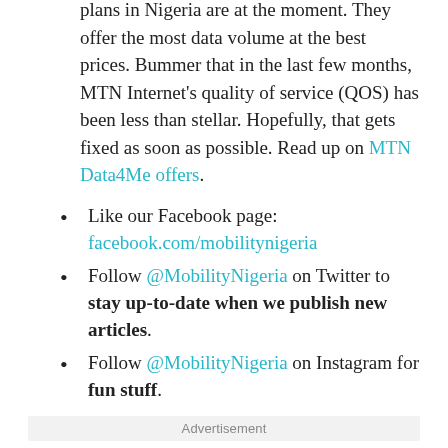plans in Nigeria are at the moment. They offer the most data volume at the best prices. Bummer that in the last few months, MTN Internet's quality of service (QOS) has been less than stellar. Hopefully, that gets fixed as soon as possible. Read up on MTN Data4Me offers.
Like our Facebook page: facebook.com/mobilitynigeria
Follow @MobilityNigeria on Twitter to stay up-to-date when we publish new articles.
Follow @MobilityNigeria on Instagram for fun stuff.
Advertisement
Sharing Is Caring